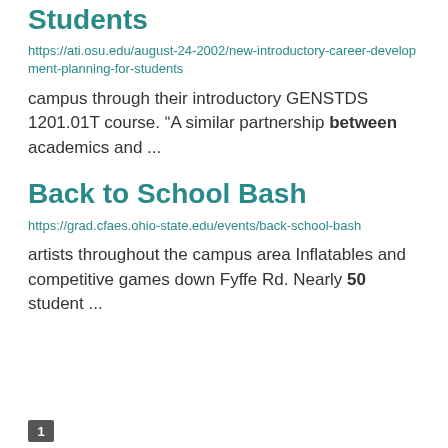Students
https://ati.osu.edu/august-24-2002/new-introductory-career-development-planning-for-students
campus through their introductory GENSTDS 1201.01T course. “A similar partnership between academics and ...
Back to School Bash
https://grad.cfaes.ohio-state.edu/events/back-school-bash
artists throughout the campus area Inflatables and competitive games down Fyffe Rd. Nearly 50 student ...
1